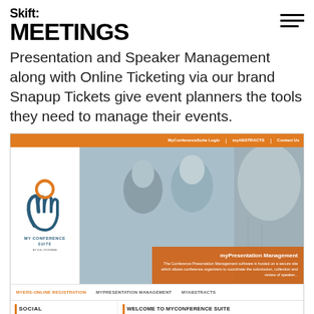Skift MEETINGS
Presentation and Speaker Management along with Online Ticketing via our brand Snapup Tickets give event planners the tools they need to manage their events.
[Figure (screenshot): Screenshot of MyConference Suite website showing navigation bar with MyConferenceSuite Login, myABSTRACTS, Contact Us links; left panel with MY CONFERENCE SUITE BY D.E. SYSTEMS logo; right panel showing business people photo with orange overlay box for myPresentation Management; sub-navigation with myERS-ONLINE REGISTRATION, myPRESENTATION MANAGEMENT, myABSTRACTS; bottom section with SOCIAL sidebar showing SNAPUPTICKETS twitter item and WELCOME TO MYCONFERENCE SUITE section with descriptive text.]